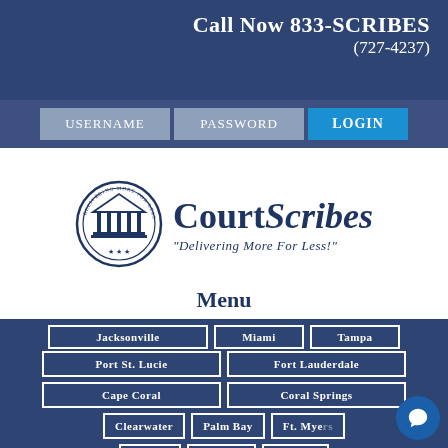Call Now 833-SCRIBES (727-4237)
Username | Password | LOGIN
[Figure (logo): CourtScribes circular logo with a courthouse/columns illustration and the text DELIVERING MORE FOR LESS around the border]
CourtScribes — "Delivering More For Less!"
MENU
Port St. Lucie
Fort Lauderdale
Cape Coral
Coral Springs
Clearwater
Palm Bay
Ft. Myers
Weston
Sarasota
Orlando